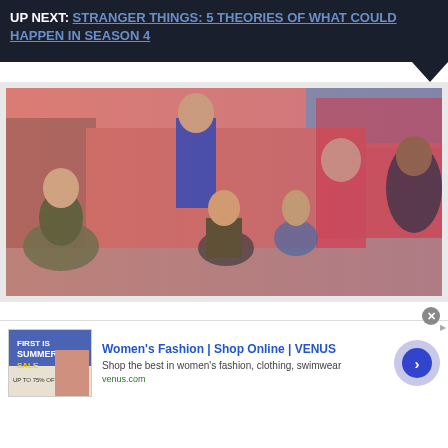UP NEXT: STRANGER THINGS: 5 THEORIES OF WHAT COULD HAPPEN IN SEASON 4
[Figure (photo): Cast of Stranger Things Season 3 posing in a mall setting with colorful lighting]
Women's Fashion | Shop Online | VENUS
Shop the best in women's fashion, clothing, swimwear
venus.com